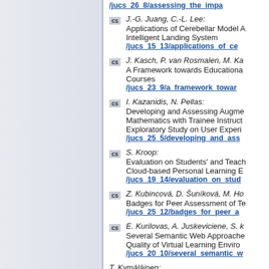/jucs_26_8/assessing_the_impa (link, truncated)
J.-G. Juang, C.-L. Lee: Applications of Cerebellar Model A... Intelligent Landing System /jucs_15_13/applications_of_ce (link)
J. Kasch, P. van Rosmalen, M. Ka... A Framework towards Educationa... Courses /jucs_23_9/a_framework_towar (link)
I. Kazanidis, N. Pellas: Developing and Assessing Augme... Mathematics with Trainee Instruct... Exploratory Study on User Experi... /jucs_25_5/developing_and_ass (link)
S. Kroop: Evaluation on Students' and Teach... Cloud-based Personal Learning E... /jucs_19_14/evaluation_on_stud (link)
Z. Kubincová, D. Šuníková, M. Ho... Badges for Peer Assessment of Te... /jucs_25_12/badges_for_peer_a (link)
E. Kurilovas, A. Juskeviciene, S. k... Several Semantic Web Approache... Quality of Virtual Learning Enviro... /jucs_20_10/several_semantic_w (link)
T. Kymäläinen: